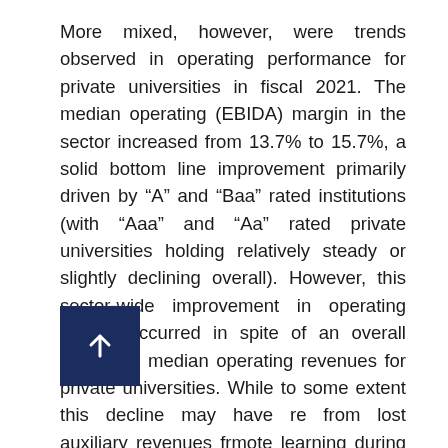More mixed, however, were trends observed in operating performance for private universities in fiscal 2021. The median operating (EBIDA) margin in the sector increased from 13.7% to 15.7%, a solid bottom line improvement primarily driven by “A” and “Baa” rated institutions (with “Aaa” and “Aa” rated private universities holding relatively steady or slightly declining overall). However, this sector-wide improvement in operating margin occurred in spite of an overall decline in median operating revenues for private universities. While to some extent this decline may have resulted from lost auxiliary revenues from remote learning during a portion of the year, the fact that significant federal